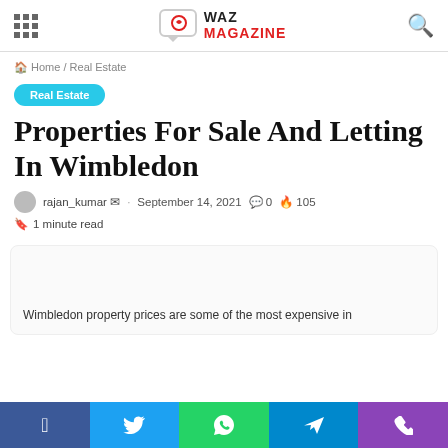WAZ MAGAZINE — site header with navigation grid icon and search icon
Home / Real Estate
Real Estate
Properties For Sale And Letting In Wimbledon
rajan_kumar · September 14, 2021  0  105
1 minute read
Wimbledon property prices are some of the most expensive in